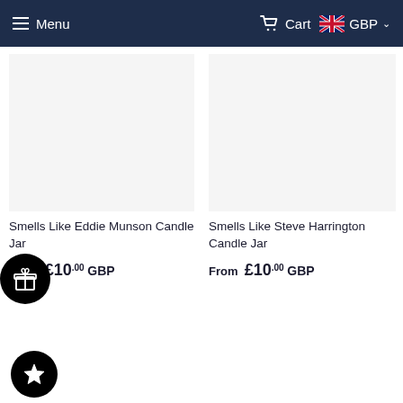Menu  Cart  GBP
[Figure (other): Product image placeholder for Smells Like Eddie Munson Candle Jar]
Smells Like Eddie Munson Candle Jar
From £10.00 GBP
[Figure (other): Product image placeholder for Smells Like Steve Harrington Candle Jar]
Smells Like Steve Harrington Candle Jar
From £10.00 GBP
[Figure (other): Gift box circular badge icon]
[Figure (other): Star circular badge icon]